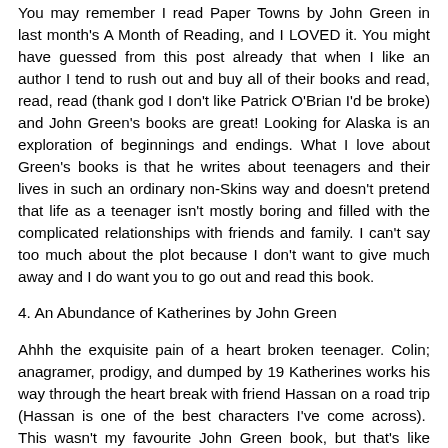You may remember I read Paper Towns by John Green in last month's A Month of Reading, and I LOVED it. You might have guessed from this post already that when I like an author I tend to rush out and buy all of their books and read, read, read (thank god I don't like Patrick O'Brian I'd be broke) and John Green's books are great! Looking for Alaska is an exploration of beginnings and endings. What I love about Green's books is that he writes about teenagers and their lives in such an ordinary non-Skins way and doesn't pretend that life as a teenager isn't mostly boring and filled with the complicated relationships with friends and family. I can't say too much about the plot because I don't want to give much away and I do want you to go out and read this book.
4. An Abundance of Katherines by John Green
Ahhh the exquisite pain of a heart broken teenager. Colin; anagramer, prodigy, and dumped by 19 Katherines works his way through the heart break with friend Hassan on a road trip (Hassan is one of the best characters I've come across). This wasn't my favourite John Green book, but that's like saying it's not my favourite cake, it's still cake damn it which means it's still great. Once again Green's characters are full